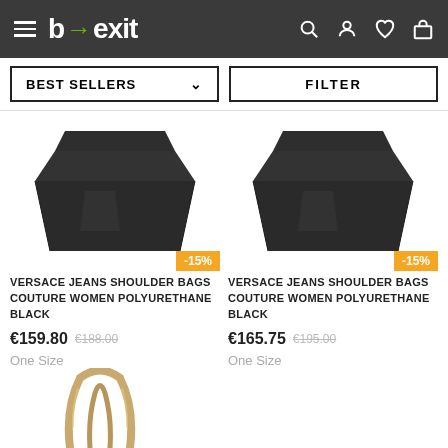b→exit — navigation header with hamburger menu, logo, search, profile, wishlist, cart icons
BEST SELLERS ∨  |  FILTER
[Figure (photo): Black Versace Jeans shoulder bag product photo, trapezoid shape, matte black polyurethane]
-15%
VERSACE JEANS SHOULDER BAGS COUTURE WOMEN POLYURETHANE BLACK
€159.80  €188.00
One Size
[Figure (photo): Black Versace Jeans shoulder bag product photo, trapezoid shape, matte black polyurethane]
-15%
VERSACE JEANS SHOULDER BAGS COUTURE WOMEN POLYURETHANE BLACK
€165.75  €195.00
One Size
[Figure (photo): Third product partially visible at bottom — gold/metallic handbag handles visible]